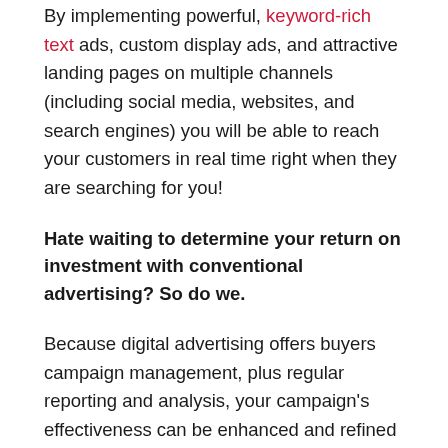By implementing powerful, keyword-rich text ads, custom display ads, and attractive landing pages on multiple channels (including social media, websites, and search engines) you will be able to reach your customers in real time right when they are searching for you!
Hate waiting to determine your return on investment with conventional advertising? So do we.
Because digital advertising offers buyers campaign management, plus regular reporting and analysis, your campaign's effectiveness can be enhanced and refined as it is running.
No more waiting to determine ROI on your